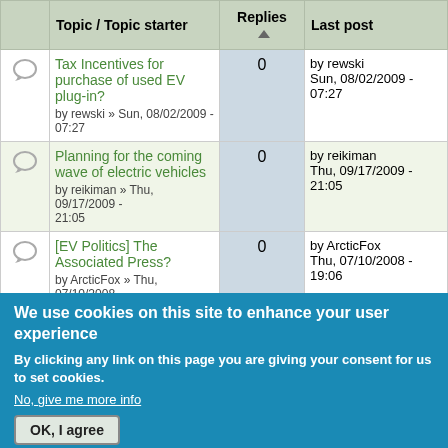|  | Topic / Topic starter | Replies ▲ | Last post |
| --- | --- | --- | --- |
|  | Tax Incentives for purchase of used EV plug-in?
by rewski » Sun, 08/02/2009 - 07:27 | 0 | by rewski
Sun, 08/02/2009 - 07:27 |
|  | Planning for the coming wave of electric vehicles
by reikiman » Thu, 09/17/2009 - 21:05 | 0 | by reikiman
Thu, 09/17/2009 - 21:05 |
|  | [EV Politics] The Associated Press?
by ArcticFox » Thu, 07/10/2008 - 19:06 | 0 | by ArcticFox
Thu, 07/10/2008 - 19:06 |
|  | LEVA-EU explains why BAGB – MCIA statement on electric |  | by Webmaster |
We use cookies on this site to enhance your user experience
By clicking any link on this page you are giving your consent for us to set cookies.
No, give me more info
OK, I agree